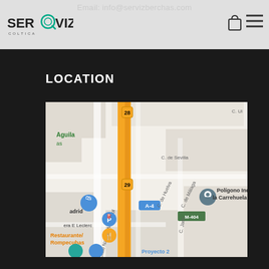Email: info@servizberchas.com
[Figure (logo): SERVIZ COLTICA logo with circular icon]
LOCATION
[Figure (map): Google Maps screenshot showing Polígono Industrial la Carrehuela area near A-4 highway, with streets Calle Narciso Monturiol, C. de Sevilla, C. de Huelva, C. de Málaga, C. Jaén, M-404 road marker, and landmarks including Restaurante/Rompecubas, Era E Leclerc, Proyecto 2]